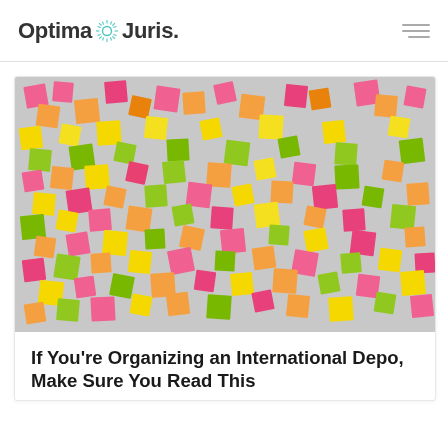Optima Juris
[Figure (photo): A wall covered with colorful sticky notes in pink, orange, yellow, and green colors, overlapping and scattered across the surface.]
If You're Organizing an International Depo, Make Sure You Read This